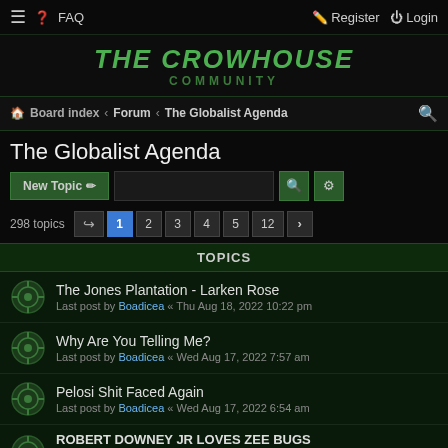≡ ? FAQ | Register Login
[Figure (logo): The Crowhouse Community logo with green stylized text on dark background]
Board index › Forum › The Globalist Agenda
The Globalist Agenda
New Topic | Search | Settings | 298 topics | Pages: 1 2 3 4 5 ... 12 >
TOPICS
The Jones Plantation - Larken Rose
Last post by Boadicea « Thu Aug 18, 2022 10:22 pm
Why Are You Telling Me?
Last post by Boadicea « Wed Aug 17, 2022 7:57 am
Pelosi Shit Faced Again
Last post by Boadicea « Wed Aug 17, 2022 6:54 am
ROBERT DOWNEY JR LOVES ZEE BUGS
Last post by BananaMulcher « Wed Aug 17, 2022 2:04 am
Replies: 1